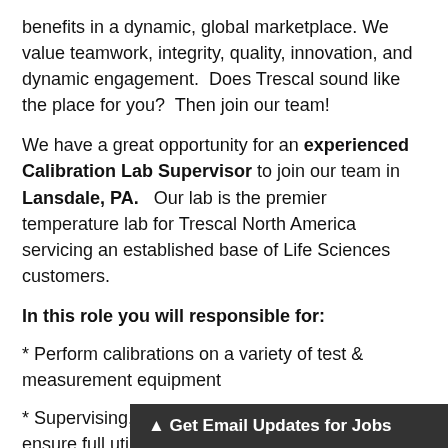benefits in a dynamic, global marketplace. We value teamwork, integrity, quality, innovation, and dynamic engagement.  Does Trescal sound like the place for you?  Then join our team!
We have a great opportunity for an experienced Calibration Lab Supervisor to join our team in Lansdale, PA.   Our lab is the premier temperature lab for Trescal North America servicing an established base of Life Sciences customers.
In this role you will responsible for:
* Perform calibrations on a variety of test & measurement equipment
* Supervising, coordinating and scheduling to ensure full utilization of technician capabilities
* Prioritizing ...es
▲ Get Email Updates for Jobs